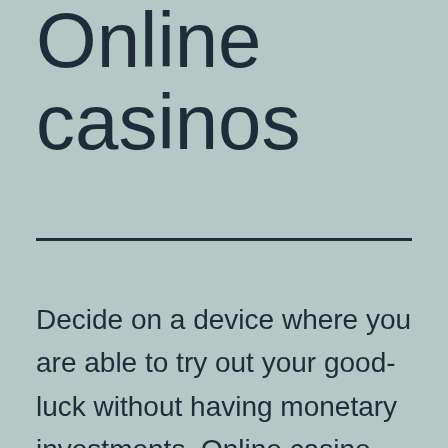Online casinos
Decide on a device where you are able to try out your good-luck without having monetary investments. Online casino ultra complimentary moves no deposit is normally